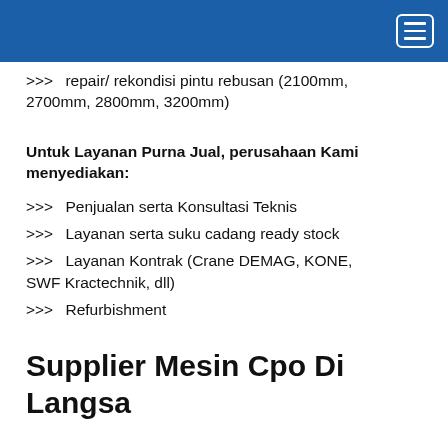[navigation bar with hamburger menu]
>>> repair/ rekondisi pintu rebusan (2100mm, 2700mm, 2800mm, 3200mm)
Untuk Layanan Purna Jual, perusahaan Kami menyediakan:
>>> Penjualan serta Konsultasi Teknis
>>> Layanan serta suku cadang ready stock
>>> Layanan Kontrak (Crane DEMAG, KONE, SWF Kractechnik, dll)
>>> Refurbishment
Supplier Mesin Cpo Di Langsa